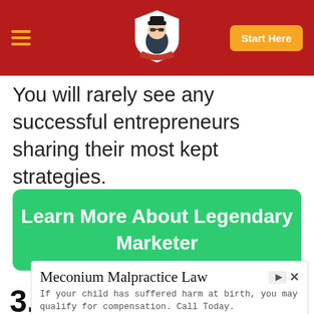Start Here
You will rarely see any successful entrepreneurs sharing their most kept strategies.
Learn More About Legendary Marketer
3. Who is Behind
[Figure (infographic): Advertisement box for Meconium Malpractice Law from injuryfrombirth.com, with 'Learn More' button]